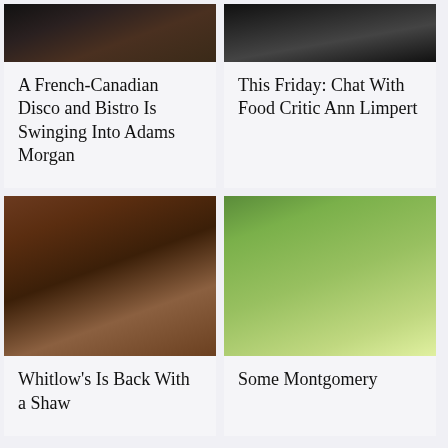[Figure (photo): Cropped top portion of a dark bar or nightclub scene]
A French-Canadian Disco and Bistro Is Swinging Into Adams Morgan
[Figure (photo): Cropped top portion of a person against dark background]
This Friday: Chat With Food Critic Ann Limpert
[Figure (photo): Interior of Whitlow's bar restaurant with wooden decor, bar stools, and fireplace]
Whitlow's Is Back With a Shaw
[Figure (photo): Outdoor patio seating with red umbrellas and trees in background, Montgomery County]
Some Montgomery